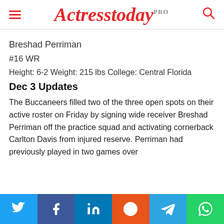Actresstoday PRO
Breshad Perriman
#16 WR
Height: 6-2 Weight: 215 lbs College: Central Florida
Dec 3 Updates
The Buccaneers filled two of the three open spots on their active roster on Friday by signing wide receiver Breshad Perriman off the practice squad and activating cornerback Carlton Davis from injured reserve. Perriman had previously played in two games over